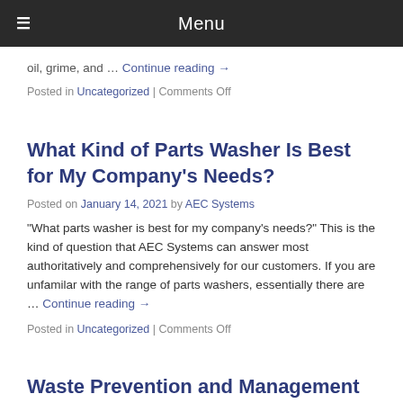≡  Menu
oil, grime, and … Continue reading →
Posted in Uncategorized | Comments Off
What Kind of Parts Washer Is Best for My Company's Needs?
Posted on January 14, 2021 by AEC Systems
"What parts washer is best for my company's needs?" This is the kind of question that AEC Systems can answer most authoritatively and comprehensively for our customers. If you are unfamilar with the range of parts washers, essentially there are … Continue reading →
Posted in Uncategorized | Comments Off
Waste Prevention and Management
Posted on November 11, 2020 by AEC Systems
In another blog we discussed one of the principles of green chemistry –